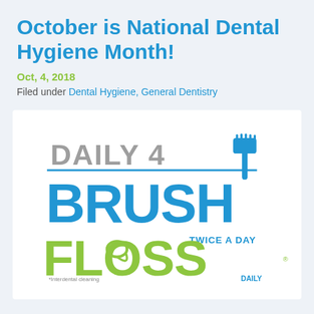October is National Dental Hygiene Month!
Oct, 4, 2018
Filed under Dental Hygiene, General Dentistry
[Figure (logo): Daily 4 Brush Twice A Day Floss Daily logo — 'DAILY 4' in grey, 'BRUSH' in blue with toothbrush icon, 'TWICE A DAY' in blue, 'FLOSS' in lime green with floss loop, '*Interdental cleaning' and 'DAILY' text at bottom]